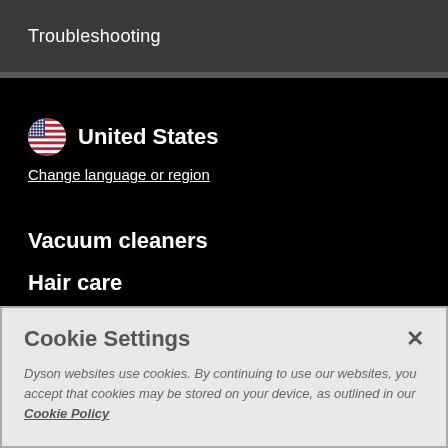Troubleshooting
United States
Change language or region
Vacuum cleaners
Hair care
Fans and Heaters
Support
Cookie Settings
Dyson websites use cookies. By continuing to use our websites, you accept that cookies may be stored on your device, as outlined in our Cookie Policy